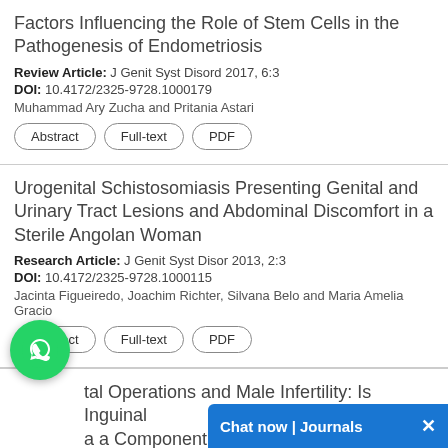Factors Influencing the Role of Stem Cells in the Pathogenesis of Endometriosis
Review Article: J Genit Syst Disord 2017, 6:3
DOI: 10.4172/2325-9728.1000179
Muhammad Ary Zucha and Pritania Astari
Abstract
Full-text
PDF
Urogenital Schistosomiasis Presenting Genital and Urinary Tract Lesions and Abdominal Discomfort in a Sterile Angolan Woman
Research Article: J Genit Syst Disor 2013, 2:3
DOI: 10.4172/2325-9728.1000115
Jacinta Figueiredo, Joachim Richter, Silvana Belo and Maria Amelia Gracio
Abstract
Full-text
PDF
tal Operations and Male Infertility: Is Inguinal a a Component of Testicular Dysgenesis Syndrome?
Research Article: J Genit Syst Di...
[Figure (screenshot): WhatsApp chat bubble icon (green circle with phone icon)]
[Figure (screenshot): Blue chat bar at bottom right: 'Chat now | Journals' with X close button]